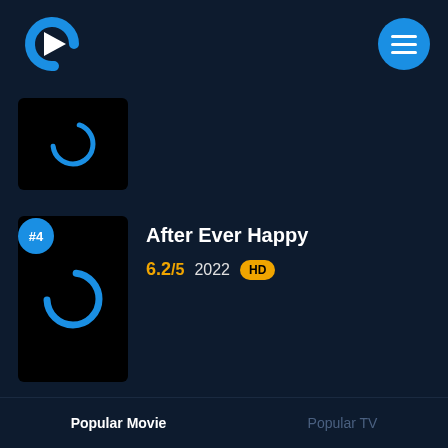[Figure (logo): Streaming app logo: blue C-shape with white play triangle]
[Figure (illustration): Blue circular hamburger menu button with three white lines]
[Figure (illustration): Partially visible movie thumbnail card with blue loading spinner icon]
[Figure (illustration): Blue circle badge with #4 rank label]
[Figure (illustration): Movie thumbnail for After Ever Happy with blue loading spinner]
After Ever Happy
6.2/5  2022  HD
RECOMENDATION
Popular Movie
Popular TV